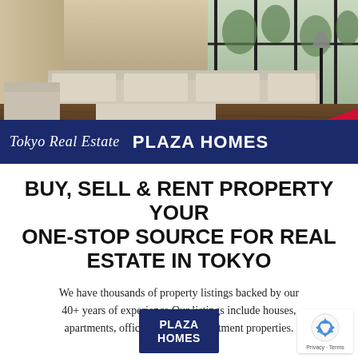[Figure (photo): Interior of a modern luxury living room with white sofas, coffee tables, and large windows with natural light and green trees visible outside. Dark hardwood floors and stone walls.]
Tokyo Real Estate  PLAZA HOMES
BUY, SELL & RENT PROPERTY YOUR ONE-STOP SOURCE FOR REAL ESTATE IN TOKYO
We have thousands of property listings backed by our 40+ years of experience.Our listings include houses, apartments, office space and investment properties.
[Figure (logo): Plaza Homes logo — white bold text on dark navy/blue square background]
[Figure (logo): reCAPTCHA privacy badge with recycling arrow icon and Privacy - Terms text]